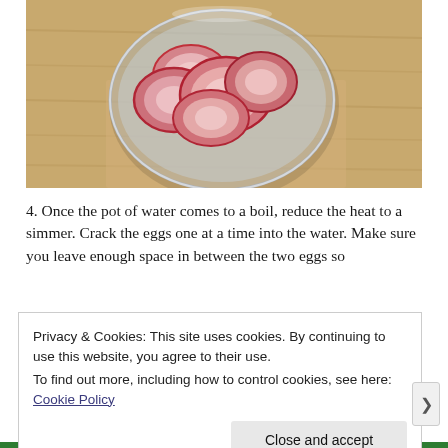[Figure (photo): Top-down view of sliced radishes in a glass bowl on a wooden cutting board]
4. Once the pot of water comes to a boil, reduce the heat to a simmer. Crack the eggs one at a time into the water. Make sure you leave enough space in between the two eggs so
Privacy & Cookies: This site uses cookies. By continuing to use this website, you agree to their use.
To find out more, including how to control cookies, see here: Cookie Policy